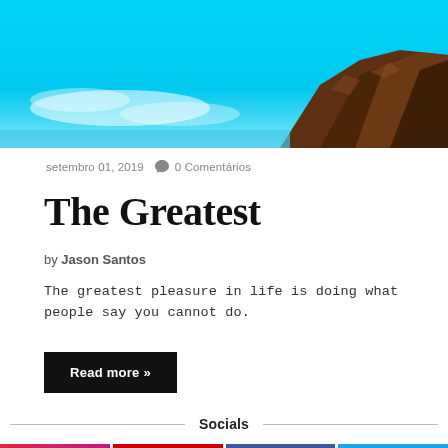[Figure (photo): Hero image of rocky coastline with bright turquoise blue sky and dark volcanic rocks on the right side.]
setembro 01, 2019  🗨 0 Comentários
The Greatest
by Jason Santos
The greatest pleasure in life is doing what people say you cannot do.
Read more »
Socials
[Figure (logo): Instagram logo icon on gradient pink/purple background]
[Figure (logo): YouTube logo icon on red background]
[Figure (logo): Facebook logo icon on blue background]
[Figure (logo): Twitter logo icon on light blue background]